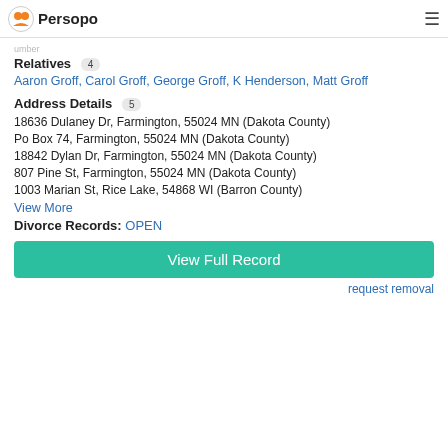Persopo
Relatives 4
Aaron Groff, Carol Groff, George Groff, K Henderson, Matt Groff
Address Details 5
18636 Dulaney Dr, Farmington, 55024 MN (Dakota County)
Po Box 74, Farmington, 55024 MN (Dakota County)
18842 Dylan Dr, Farmington, 55024 MN (Dakota County)
807 Pine St, Farmington, 55024 MN (Dakota County)
1003 Marian St, Rice Lake, 54868 WI (Barron County)
View More
Divorce Records: OPEN
View Full Record
request removal